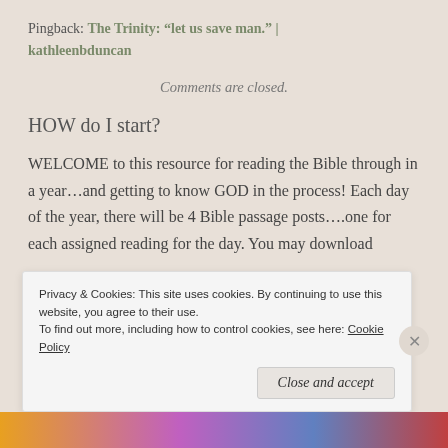Pingback: The Trinity: “let us save man.” | kathleenbduncan
Comments are closed.
HOW do I start?
WELCOME to this resource for reading the Bible through in a year…and getting to know GOD in the process! Each day of the year, there will be 4 Bible passage posts….one for each assigned reading for the day. You may download
Privacy & Cookies: This site uses cookies. By continuing to use this website, you agree to their use.
To find out more, including how to control cookies, see here: Cookie Policy
Close and accept